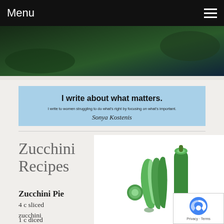Menu
[Figure (photo): Dark green header banner image, likely a close-up of a vegetable or plant]
[Figure (infographic): Light blue banner reading 'I write about what matters.' with subtitle 'I write to women struggling to do what's right by focusing on what's important.' and a cursive signature]
Zucchini Recipes
Zucchini Pie
4 c sliced zucchini
1 c diced onions
[Figure (photo): Photo of fresh zucchini on white background — whole zucchini and sliced pieces arranged artfully]